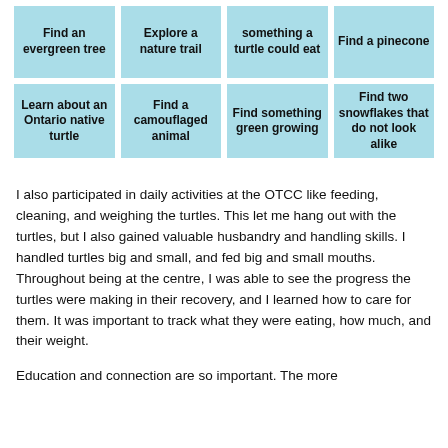| Find an evergreen tree | Explore a nature trail | something a turtle could eat | Find a pinecone |
| Learn about an Ontario native turtle | Find a camouflaged animal | Find something green growing | Find two snowflakes that do not look alike |
I also participated in daily activities at the OTCC like feeding, cleaning, and weighing the turtles. This let me hang out with the turtles, but I also gained valuable husbandry and handling skills. I handled turtles big and small, and fed big and small mouths. Throughout being at the centre, I was able to see the progress the turtles were making in their recovery, and I learned how to care for them. It was important to track what they were eating, how much, and their weight.
Education and connection are so important. The more